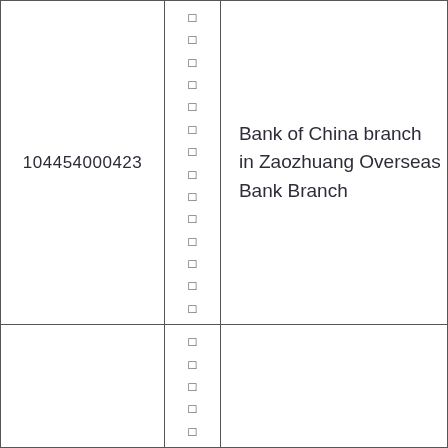| 104454000423 | □
□
□
□
□
□
□
□
□
□
□
□
□
□ | Bank of China branch in Zaozhuang Overseas Bank Branch |
|  | □
□
□
□
□ |  |